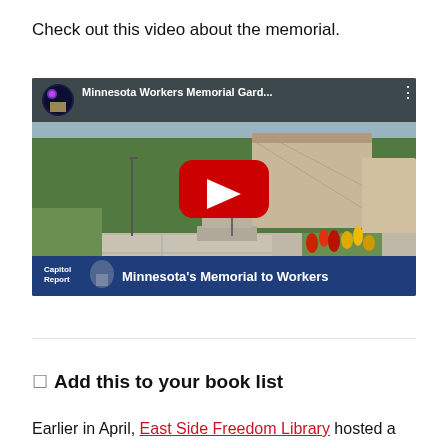Check out this video about the memorial.
[Figure (screenshot): YouTube video embed showing the Minnesota Workers Memorial Garden. Thumbnail shows a park walkway with a stone monument sculpture, colorful flowers (red, yellow), and green trees. The top bar shows a circular thumbnail with fireworks/Capitol image and title 'Minnesota Workers Memorial Gard...'. The bottom bar is dark blue with 'Capitol Report' logo and text 'Minnesota's Memorial to Workers'. A large red YouTube play button is centered on the thumbnail.]
☐ Add this to your book list
Earlier in April, East Side Freedom Library hosted a